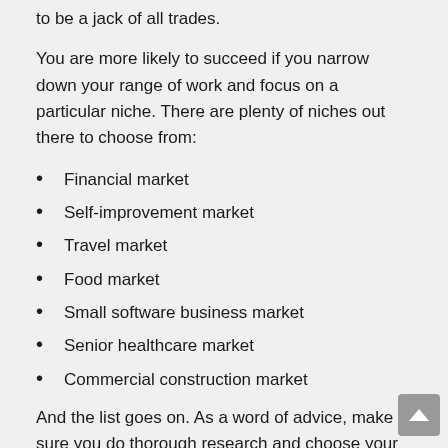to be a jack of all trades.
You are more likely to succeed if you narrow down your range of work and focus on a particular niche. There are plenty of niches out there to choose from:
Financial market
Self-improvement market
Travel market
Food market
Small software business market
Senior healthcare market
Commercial construction market
And the list goes on. As a word of advice, make sure you do thorough research and choose your niche carefully.